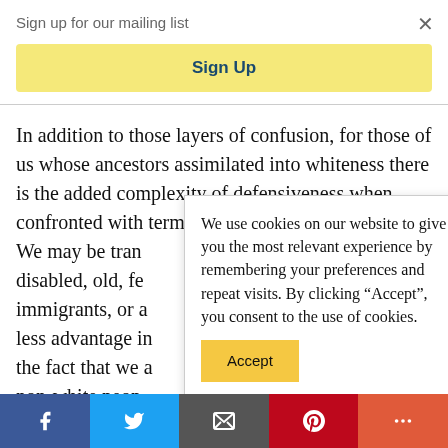Sign up for our mailing list
Sign Up
In addition to those layers of confusion, for those of us whose ancestors assimilated into whiteness there is the added complexity of defensiveness when confronted with terms like “… We may be tran… disabled, old, fe… immigrants, or a… less advantage in… the fact that we a… non-white peop…
We use cookies on our website to give you the most relevant experience by remembering your preferences and repeat visits. By clicking “Accept”, you consent to the use of cookies.
Accept